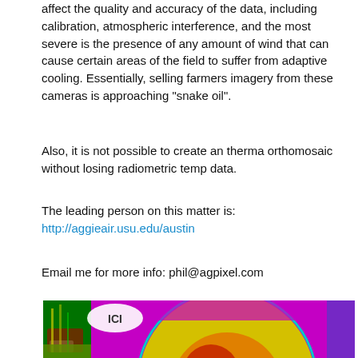affect the quality and accuracy of the data, including calibration, atmospheric interference, and the most severe is the presence of any amount of wind that can cause certain areas of the field to suffer from adaptive cooling. Essentially, selling farmers imagery from these cameras is approaching "snake oil".
Also, it is not possible to create an therma orthomosaic without losing radiometric temp data.
The leading person on this matter is: http://aggieair.usu.edu/austin
Email me for more info: phil@agpixel.com
[Figure (photo): Thermal infrared image showing a false-color thermal map of a circular/lens area with ICI logo in top-left corner. Colors range from purple/magenta (coolest) through blue, green, yellow to red/orange (warmest), showing temperature distribution patterns.]